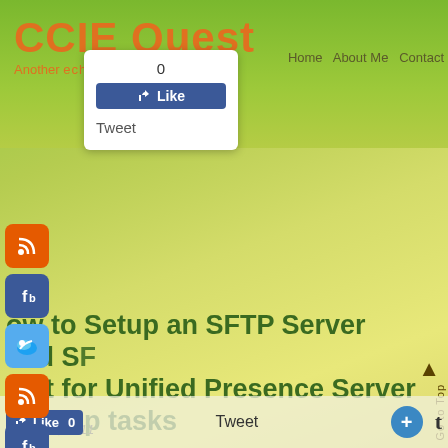CCIE Quest
Another echnology.....
Home  About Me  Contact
[Figure (screenshot): Facebook Like button popup showing count 0 and Like button, with Tweet text below]
[Figure (screenshot): Left sidebar social media icons: RSS, Facebook, Twitter (repeated twice)]
ow to Setup an SFTP Server and SF ient for Unified Presence Server backup tasks
July 29th, 2011
This tutorial will cover setting up SFTP Server and SFTP Client as a pre-requ
[Figure (screenshot): Bottom bar with Like 0 button, Tweet text, blue plus button, and t button]